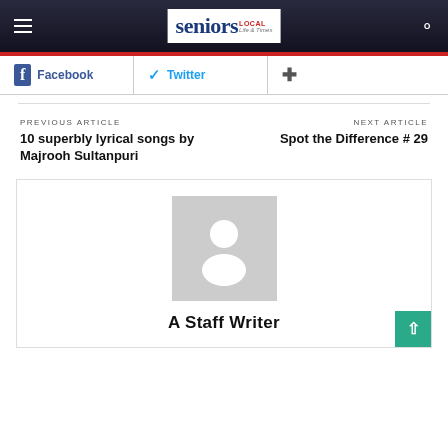seniors LOCAL Life & Times
Facebook   Twitter
PREVIOUS ARTICLE
10 superbly lyrical songs by Majrooh Sultanpuri
NEXT ARTICLE
Spot the Difference # 29
[Figure (illustration): Generic user avatar placeholder image — gray square with white silhouette of a person]
A Staff Writer